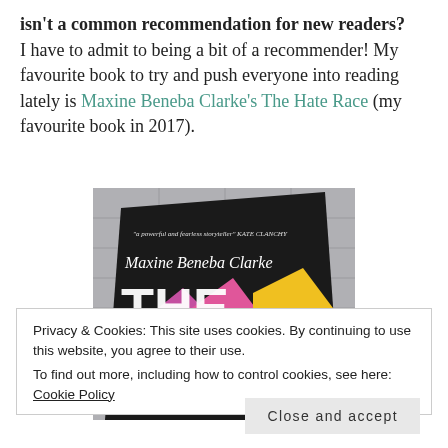isn't a common recommendation for new readers? I have to admit to being a bit of a recommender! My favourite book to try and push everyone into reading lately is Maxine Beneba Clarke's The Hate Race (my favourite book in 2017).
[Figure (photo): Photo of the book 'The Hate Race' by Maxine Beneba Clarke, showing the book cover with white handwritten-style text on a dark background with colourful abstract shapes, placed on a tiled floor.]
Privacy & Cookies: This site uses cookies. By continuing to use this website, you agree to their use.
To find out more, including how to control cookies, see here: Cookie Policy
Close and accept